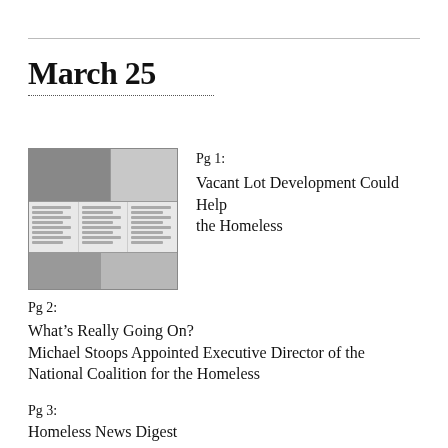March 25
[Figure (photo): Thumbnail of a newspaper page showing text columns and an image at the top and bottom]
Pg 1:
Vacant Lot Development Could Help the Homeless
Pg 2:
What's Really Going On?
Michael Stoops Appointed Executive Director of the National Coalition for the Homeless
Pg 3:
Homeless News Digest
Pg 4: